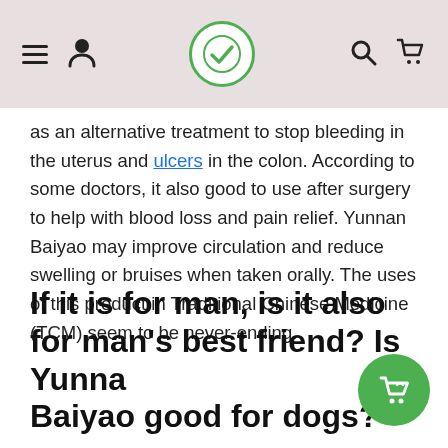Navigation header with menu, user, logo, search, and cart icons
as an alternative treatment to stop bleeding in the uterus and ulcers in the colon. According to some doctors, it also good to use after surgery to help with blood loss and pain relief. Yunnan Baiyao may improve circulation and reduce swelling or bruises when taken orally. The uses of this product in Traditional Chinese Medicine (TCM) seem to be never-ending.
If it is for man, is it also for man's best friend? Is Yunnan Baiyao good for dogs?